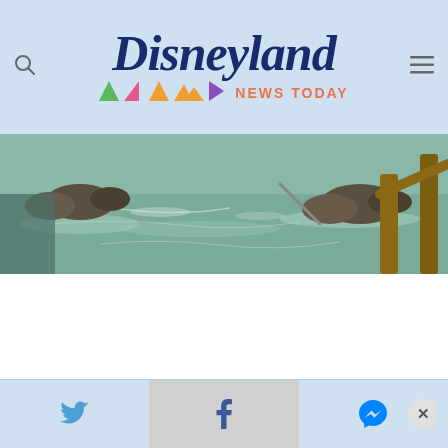Disneyland News Today
[Figure (photo): Water scene with rocks, wooden structure beams, and shallow water at Disneyland]
Twitter share, Facebook share, Messenger share, Close button